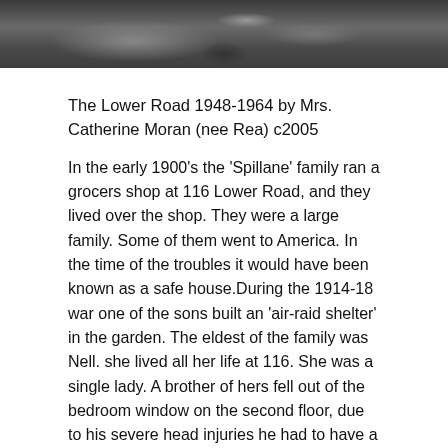[Figure (photo): Dark grayscale photograph, likely an aerial or outdoor scene, cropped at the top of the page]
The Lower Road 1948-1964 by Mrs. Catherine Moran (nee Rea) c2005
In the early 1900's the 'Spillane' family ran a grocers shop at 116 Lower Road, and they lived over the shop. They were a large family. Some of them went to America. In the time of the troubles it would have been known as a safe house. During the 1914-18 war one of the sons built an 'air-raid shelter' in the garden. The eldest of the family was Nell. she lived all her life at 116. She was a single lady. A brother of hers fell out of the bedroom window on the second floor, due to his severe head injuries he had to have a plate fitted in his head.
He spent a few years in America but had to return as the heat effected his head. When the Spillane family retired